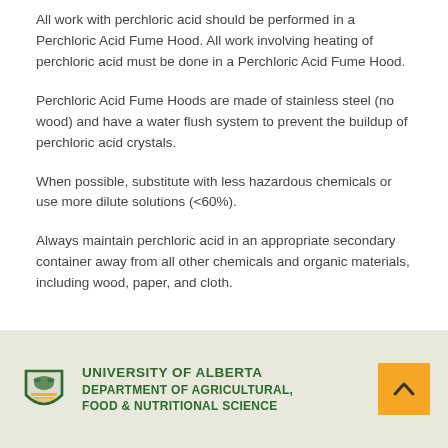All work with perchloric acid should be performed in a Perchloric Acid Fume Hood. All work involving heating of perchloric acid must be done in a Perchloric Acid Fume Hood.
Perchloric Acid Fume Hoods are made of stainless steel (no wood) and have a water flush system to prevent the buildup of perchloric acid crystals.
When possible, substitute with less hazardous chemicals or use more dilute solutions (<60%).
Always maintain perchloric acid in an appropriate secondary container away from all other chemicals and organic materials, including wood, paper, and cloth.
UNIVERSITY OF ALBERTA DEPARTMENT OF AGRICULTURAL, FOOD & NUTRITIONAL SCIENCE